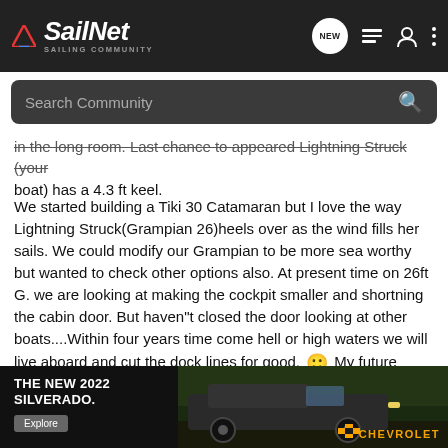SailNet - Sailing Community
Search Community
...has appeared Lightning Struck (your boat) has a 4.3 ft keel.
We started building a Tiki 30 Catamaran but I love the way Lightning Struck(Grampian 26)heels over as the wind fills her sails. We could modify our Grampian to be more sea worthy but wanted to check other options also. At present time on 26ft G. we are looking at making the cockpit smaller and shortning the cabin door. But haven"t closed the door looking at other boats....Within four years time come hell or high waters we will live aboard and cut the dock lines for good. 🙂 My future husband has experience sailing and got his start on the water by sea kayaking from Florida to the Bahama"s and Dominican Republic...He loves every minute of it!
[Figure (screenshot): Chevrolet Silverado 2022 advertisement banner showing a dark truck on a rural background with text 'THE NEW 2022 SILVERADO.' and Explore button]